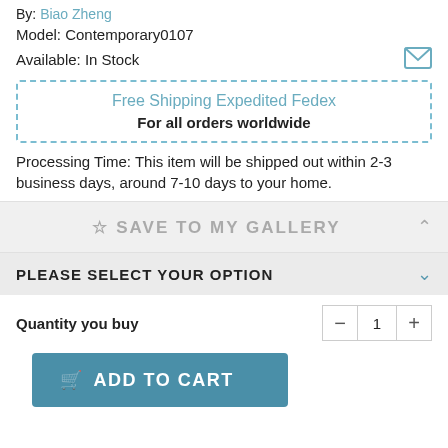By: Biao Zheng
Model: Contemporary0107
Available: In Stock
Free Shipping Expedited Fedex
For all orders worldwide
Processing Time: This item will be shipped out within 2-3 business days, around 7-10 days to your home.
☆ SAVE TO MY GALLERY
PLEASE SELECT YOUR OPTION
Quantity you buy
ADD TO CART